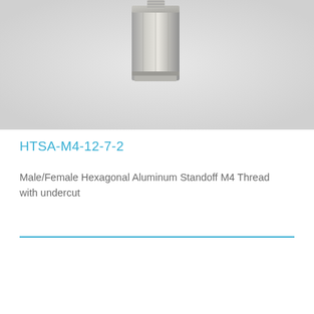[Figure (photo): Close-up photo of a Male/Female Hexagonal Aluminum Standoff M4 Thread with undercut fastener, showing the hex body and threaded male post, metallic silver finish against a light grey background.]
HTSA-M4-12-7-2
Male/Female Hexagonal Aluminum Standoff M4 Thread with undercut